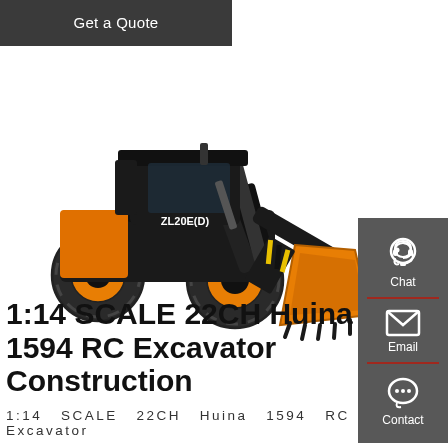[Figure (screenshot): Get a Quote dark button/bar at the top left]
[Figure (photo): RC scale model of a Huina 1594 front loader construction machine, black and orange, model ZL20E(D), displayed on white background]
[Figure (other): Right sidebar with Chat (headset icon), Email (envelope icon), and Contact (speech bubble icon) buttons on dark grey background with red dividers]
1:14 SCALE 22CH Huina 1594 RC Excavator Construction
1:14   SCALE   22CH   Huina   1594   RC   Excavator